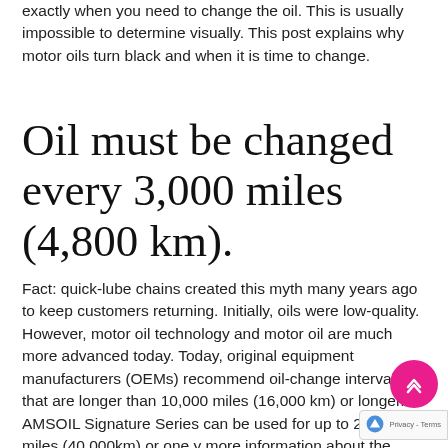exactly when you need to change the oil. This is usually impossible to determine visually. This post explains why motor oils turn black and when it is time to change.
Oil must be changed every 3,000 miles (4,800 km).
Fact: quick-lube chains created this myth many years ago to keep customers returning. Initially, oils were low-quality. However, motor oil technology and motor oil are much more advanced today. Today, original equipment manufacturers (OEMs) recommend oil-change intervals that are longer than 10,000 miles (16,000 km) or longer. AMSOIL Signature Series can be used for up to 25,000 miles (40,000km) or one y... more information about the 3,000-mile oil-change my... here.